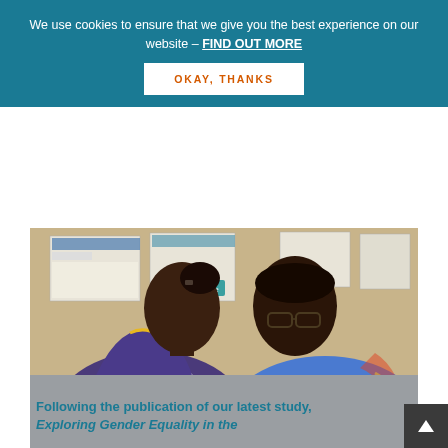We use cookies to ensure that we give you the best experience on our website - FIND OUT MORE
OKAY, THANKS
[Figure (photo): Two women with dark skin looking down at a desk or table inside a room with posters on a beige wall. The woman on the left wears a blue/purple vest over a white shirt with a yellow trim and has her hair in a bun. The woman on the right wears a blue patterned shirt and glasses.]
Following the publication of our latest study, Exploring Gender Equality in the